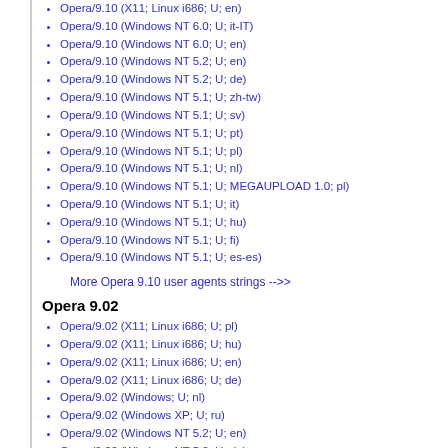Opera/9.10 (X11; Linux i686; U; en)
Opera/9.10 (Windows NT 6.0; U; it-IT)
Opera/9.10 (Windows NT 6.0; U; en)
Opera/9.10 (Windows NT 5.2; U; en)
Opera/9.10 (Windows NT 5.2; U; de)
Opera/9.10 (Windows NT 5.1; U; zh-tw)
Opera/9.10 (Windows NT 5.1; U; sv)
Opera/9.10 (Windows NT 5.1; U; pt)
Opera/9.10 (Windows NT 5.1; U; pl)
Opera/9.10 (Windows NT 5.1; U; nl)
Opera/9.10 (Windows NT 5.1; U; MEGAUPLOAD 1.0; pl)
Opera/9.10 (Windows NT 5.1; U; it)
Opera/9.10 (Windows NT 5.1; U; hu)
Opera/9.10 (Windows NT 5.1; U; fi)
Opera/9.10 (Windows NT 5.1; U; es-es)
More Opera 9.10 user agents strings -->>
Opera 9.02
Opera/9.02 (X11; Linux i686; U; pl)
Opera/9.02 (X11; Linux i686; U; hu)
Opera/9.02 (X11; Linux i686; U; en)
Opera/9.02 (X11; Linux i686; U; de)
Opera/9.02 (Windows; U; nl)
Opera/9.02 (Windows XP; U; ru)
Opera/9.02 (Windows NT 5.2; U; en)
Opera/9.02 (Windows NT 5.2; U; de)
Opera/9.02 (Windows NT 5.1; U; zh-cn)
Opera/9.02 (Windows NT 5.1; U; ru)
Opera/9.02 (Windows NT 5.1; U; pt-br)
Opera/9.02 (Windows NT 5.1; U; pl)
Opera/9.02 (Windows NT 5.1; U; nb)
Opera/9.02 (Windows NT 5.1; U; ja)
Opera/9.02 (Windows NT 5.1; U; fi)
Opera/9.02 (Windows NT 5.1; U; ...)